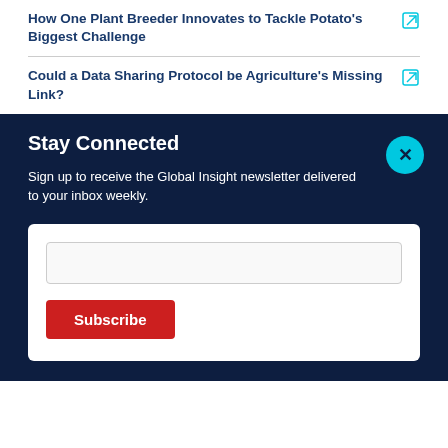How One Plant Breeder Innovates to Tackle Potato's Biggest Challenge
Could a Data Sharing Protocol be Agriculture's Missing Link?
Stay Connected
Sign up to receive the Global Insight newsletter delivered to your inbox weekly.